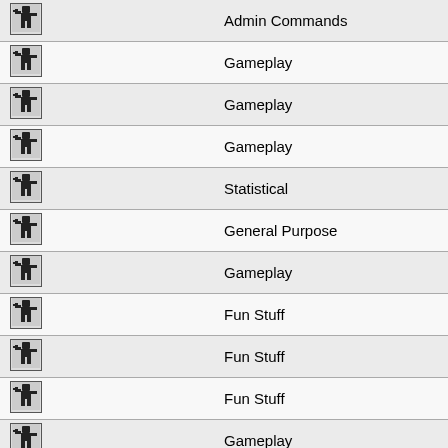| Icon |  | Category |
| --- | --- | --- |
| [icon] |  | Admin Commands |
| [icon] |  | Gameplay |
| [icon] |  | Gameplay |
| [icon] |  | Gameplay |
| [icon] |  | Statistical |
| [icon] |  | General Purpose |
| [icon] |  | Gameplay |
| [icon] |  | Fun Stuff |
| [icon] |  | Fun Stuff |
| [icon] |  | Fun Stuff |
| [icon] |  | Gameplay |
| [icon] |  | Fun Stuff |
| [icon] |  | General Purpose |
| [icon] |  | Fun Stuff |
| [icon] |  | Admin Commands |
| [icon] |  | General Purpose |
| [icon] |  | Fun Stuff |
| [icon] |  | Fun Stuff |
| [icon] |  | Fun Stuff |
| [icon] |  | Gameplay |
| [icon] |  | General Purpose |
| [icon] |  | Fun Stuff |